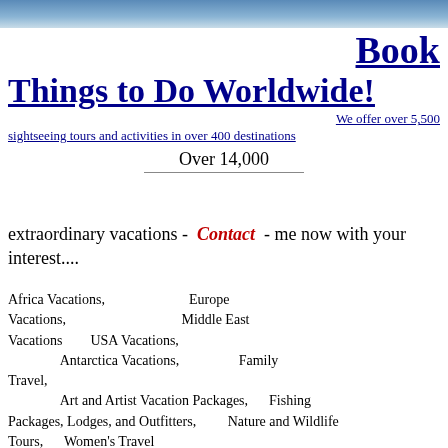[Figure (photo): Blue banner/header image at top of page]
Book Things to Do Worldwide!
We offer over 5,500 sightseeing tours and activities in over 400 destinations
Over 14,000
extraordinary vacations - Contact - me now with your interest....
Africa Vacations,
Europe Vacations,
Middle East Vacations
USA Vacations,
Antarctica Vacations,
Family Travel,
Art and Artist Vacation Packages,
Fishing Packages, Lodges, and Outfitters,
Nature and Wildlife Tours,
Women's Travel
Asia Vacations,
Food, Wine Tour Packages and Cooking Schools
Naturist and Nude Resorts,
Australia & Oceania Vacations,